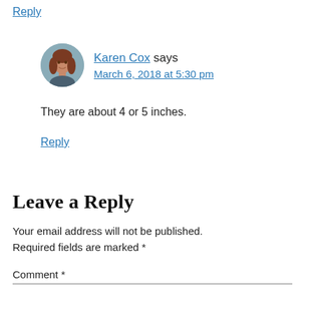Reply
[Figure (photo): Circular avatar photo of Karen Cox, a woman with reddish-brown hair]
Karen Cox says
March 6, 2018 at 5:30 pm
They are about 4 or 5 inches.
Reply
Leave a Reply
Your email address will not be published. Required fields are marked *
Comment *